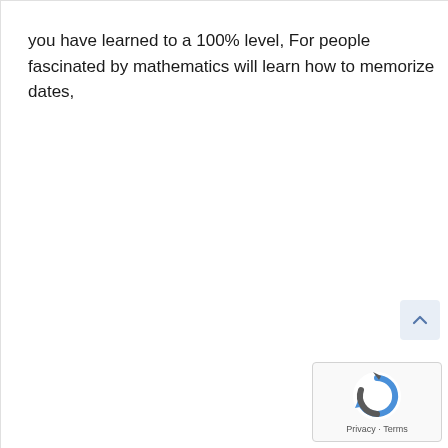you have learned to a 100% level, For people fascinated by mathematics will learn how to memorize dates,
[Figure (other): Scroll-to-top button with upward chevron arrow on light blue-grey background]
[Figure (other): reCAPTCHA widget showing Google reCAPTCHA logo with Privacy and Terms links]